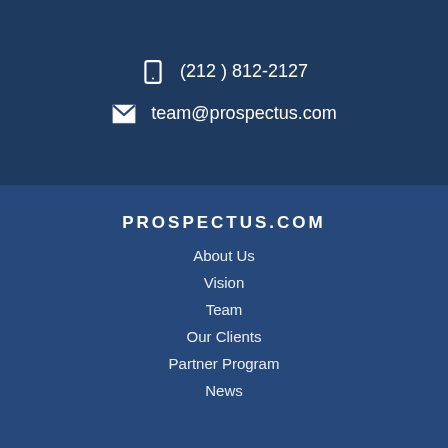(212) 812-2127
team@prospectus.com
PROSPECTUS.COM
About Us
Vision
Team
Our Clients
Partner Program
News